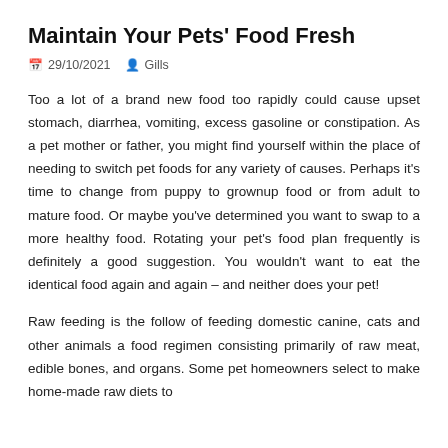Maintain Your Pets' Food Fresh
📅 29/10/2021   👤 Gills
Too a lot of a brand new food too rapidly could cause upset stomach, diarrhea, vomiting, excess gasoline or constipation. As a pet mother or father, you might find yourself within the place of needing to switch pet foods for any variety of causes. Perhaps it's time to change from puppy to grownup food or from adult to mature food. Or maybe you've determined you want to swap to a more healthy food. Rotating your pet's food plan frequently is definitely a good suggestion. You wouldn't want to eat the identical food again and again – and neither does your pet!
Raw feeding is the follow of feeding domestic canine, cats and other animals a food regimen consisting primarily of raw meat, edible bones, and organs. Some pet homeowners select to make home-made raw diets to